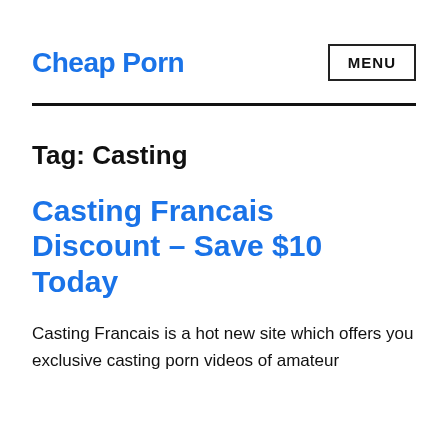Cheap Porn
Tag: Casting
Casting Francais Discount – Save $10 Today
Casting Francais is a hot new site which offers you exclusive casting porn videos of amateur